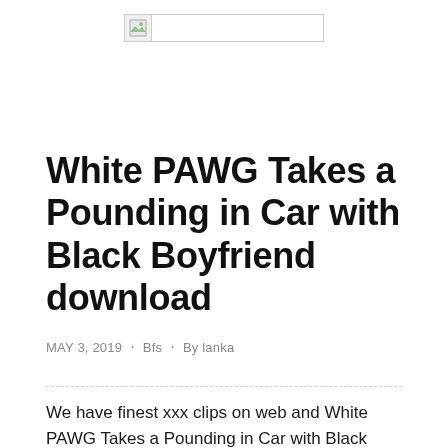[Figure (logo): Broken image placeholder with small icon and white bar area, centered at top of page]
White PAWG Takes a Pounding in Car with Black Boyfriend download
MAY 3, 2019 · Bfs · By lanka
We have finest xxx clips on web and White PAWG Takes a Pounding in Car with Black Boyfriend is among them.